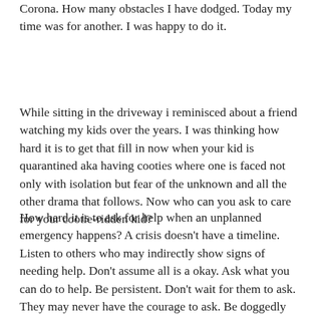Corona. How many obstacles I have dodged. Today my time was for another. I was happy to do it.
While sitting in the driveway i reminisced about a friend watching my kids over the years. I was thinking how hard it is to get that fill in now when your kid is quarantined aka having cooties where one is faced not only with isolation but fear of the unknown and all the other drama that follows. Now who can you ask to care for your cootie-ridden kid?
How hard it is to ask for help when an unplanned emergency happens? A crisis doesn't have a timeline. Listen to others who may indirectly show signs of needing help. Don't assume all is a okay. Ask what you can do to help. Be persistent. Don't wait for them to ask. They may never have the courage to ask. Be doggedly persistent to show you can help. Kindness is free.